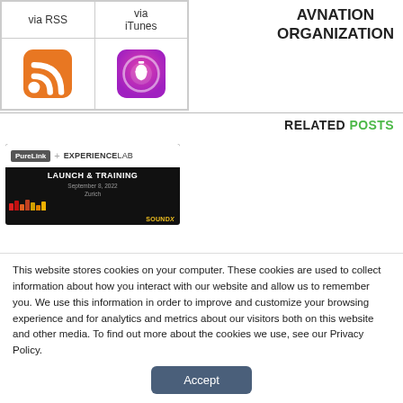| via RSS | via iTunes |
| --- | --- |
| [RSS icon] | [iTunes icon] |
AVNATION ORGANIZATION
RELATED POSTS
[Figure (photo): PureLink + ExperienceLab Launch & Training event promo image, September 8, 2022, Zurich, SoundX]
This website stores cookies on your computer. These cookies are used to collect information about how you interact with our website and allow us to remember you. We use this information in order to improve and customize your browsing experience and for analytics and metrics about our visitors both on this website and other media. To find out more about the cookies we use, see our Privacy Policy.
Accept